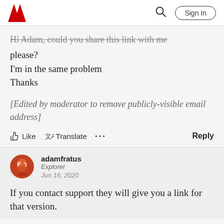Adobe [logo] | Search | Sign In
Hi Adam, could you share this link with me please?
I'm in the same problem
Thanks
[Edited by moderator to remove publicly-visible email address]
Like  Translate  ...  Reply
adamfratus
Explorer
Jun 16, 2020
If you contact support they will give you a link for that version.